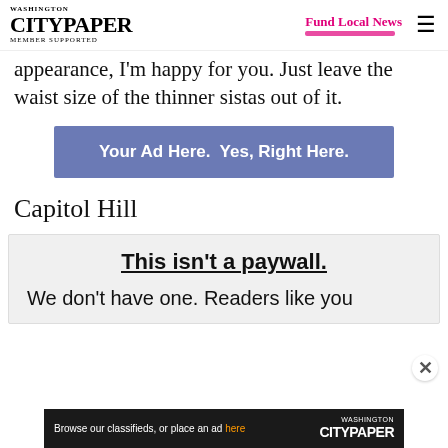Washington City Paper — Member Supported | Fund Local News | [hamburger menu]
appearance, I'm happy for you. Just leave the waist size of the thinner sistas out of it.
[Figure (infographic): Blue banner advertisement reading 'Your Ad Here. Yes, Right Here.']
Capitol Hill
This isn't a paywall.
We don't have one. Readers like you
[Figure (infographic): Washington City Paper classifieds banner: 'Browse our classifieds, or place an ad here' with Washington CityPaper logo]